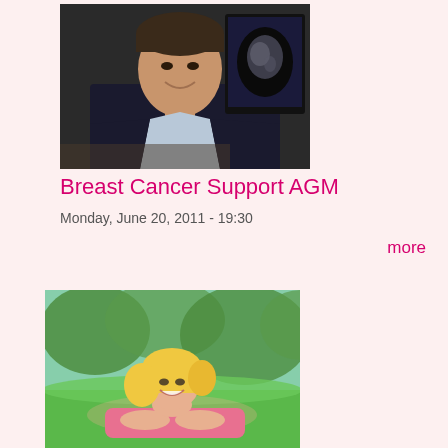[Figure (photo): A man in a dark suit smiling, seated in front of a medical imaging screen showing a mammogram scan]
Breast Cancer Support AGM
Monday, June 20, 2011 - 19:30
more
[Figure (photo): A young blonde woman in a pink top lying on grass in a park, smiling at the camera]